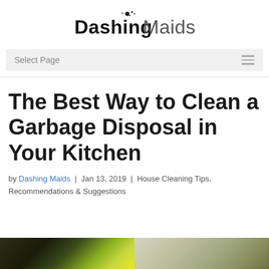[Figure (logo): Dashing Maids logo with bold 'Dashing' and regular weight 'Maids' text, with a small ink splatter dot above the 'i']
Select Page
The Best Way to Clean a Garbage Disposal in Your Kitchen
by Dashing Maids | Jan 13, 2019 | House Cleaning Tips, Recommendations & Suggestions
[Figure (photo): Bottom strip of two photos — left showing dark green/yellow produce near a garbage disposal, right showing lighter kitchen scene]